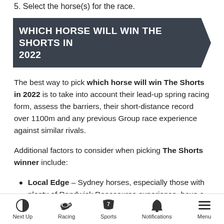5. Select the horse(s) for the race.
WHICH HORSE WILL WIN THE SHORTS IN 2022
The best way to pick which horse will win The Shorts in 2022 is to take into account their lead-up spring racing form, assess the barriers, their short-distance record over 1100m and any previous Group race experience against similar rivals.
Additional factors to consider when picking The Shorts winner include:
Local Edge – Sydney horses, especially those with plenty of Randwick Racecourse experience, have a
Next Up   Racing   Sports   Notifications   Menu